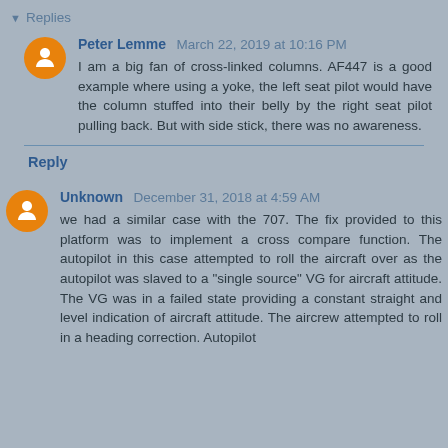▼ Replies
Peter Lemme  March 22, 2019 at 10:16 PM
I am a big fan of cross-linked columns. AF447 is a good example where using a yoke, the left seat pilot would have the column stuffed into their belly by the right seat pilot pulling back. But with side stick, there was no awareness.
Reply
Unknown  December 31, 2018 at 4:59 AM
we had a similar case with the 707. The fix provided to this platform was to implement a cross compare function. The autopilot in this case attempted to roll the aircraft over as the autopilot was slaved to a "single source" VG for aircraft attitude. The VG was in a failed state providing a constant straight and level indication of aircraft attitude. The aircrew attempted to roll in a heading correction. Autopilot